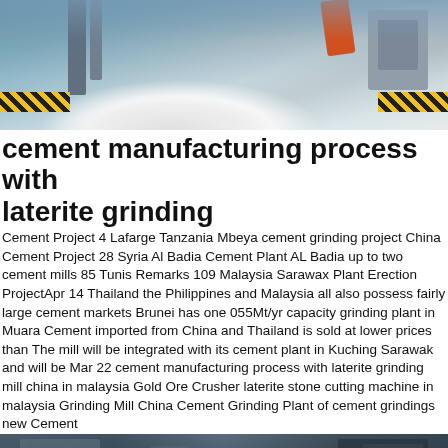[Figure (photo): Industrial cement manufacturing facility with machinery, white aggregate/gravel pile, and yellow-black hazard striped barriers]
cement manufacturing process with laterite grinding
Cement Project 4 Lafarge Tanzania Mbeya cement grinding project China Cement Project 28 Syria Al Badia Cement Plant AL Badia up to two cement mills 85 Tunis Remarks 109 Malaysia Sarawax Plant Erection ProjectApr 14 Thailand the Philippines and Malaysia all also possess fairly large cement markets Brunei has one 055Mt/yr capacity grinding plant in Muara Cement imported from China and Thailand is sold at lower prices than The mill will be integrated with its cement plant in Kuching Sarawak and will be Mar 22 cement manufacturing process with laterite grinding mill china in malaysia Gold Ore Crusher laterite stone cutting machine in malaysia Grinding Mill China Cement Grinding Plant of cement grindings new Cement
[Figure (photo): Industrial machinery interior of cement plant, dark tones with mechanical equipment visible]
Get a Quote
WhatsApp